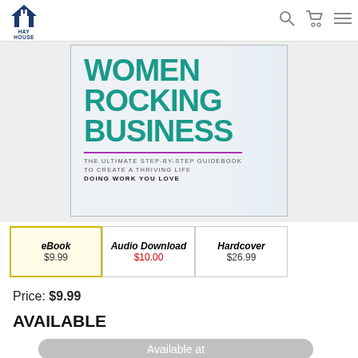HAY HOUSE
[Figure (photo): Book cover of Women Rocking Business: The Ultimate Step-by-Step Guidebook to Create a Thriving Life Doing Work You Love. Large teal text on a light background with purple underline divider.]
| eBook | Audio Download | Hardcover |
| --- | --- | --- |
| $9.99 | $10.00 | $26.99 |
Price: $9.99
AVAILABLE
Available at